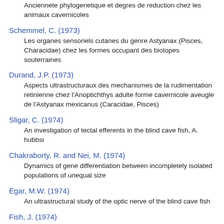Anciennete phylogenetique et degres de reduction chez les animaux cavernicoles
Schemmel, C. (1973)
Les organes sensoriels cutanes du genre Astyanax (Pisces, Characidae) chez les formes occupant des biotopes souterraines
Durand, J.P. (1973)
Aspects ultrastructuraux des mechanismes de la rudimentation retinienne chez l'Anoptichthys adulte forme cavernicole aveugle de l'Astyanax mexicanus (Caracidae, Pisces)
Sligar, C. (1974)
An investigation of tectal efferents in the blind cave fish, A. hubbsi
Chakraborty, R. and Nei, M. (1974)
Dynamics of gene differentiation between incompletely isolated populations of unequal size
Egar, M.W. (1974)
An ultrastructural study of the optic nerve of the blind cave fish
Fish, J. (1974)
La Sistema de Los Sabinos. Mexico's longest cave
Pfeiffer, W. (1974)
Pheromones in fish and amphibia